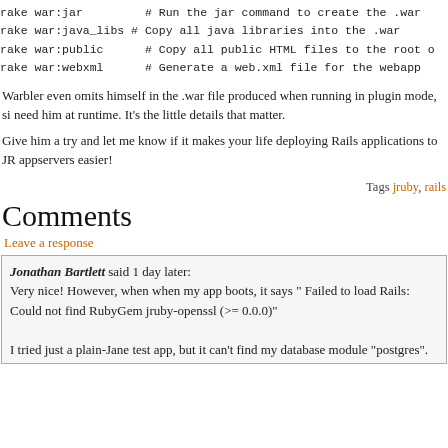rake war:jar          # Run the jar command to create the .war
rake war:java_libs  # Copy all java libraries into the .war
rake war:public      # Copy all public HTML files to the root o
rake war:webxml      # Generate a web.xml file for the webapp
Warbler even omits himself in the .war file produced when running in plugin mode, si need him at runtime. It’s the little details that matter.
Give him a try and let me know if it makes your life deploying Rails applications to JR appservers easier!
Tags jruby, rails
Comments
Leave a response
Jonathan Bartlett said 1 day later:
Very nice! However, when when my app boots, it says “ Failed to load Rails: Could find RubyGem jruby-openssl (>= 0.0.0)”

I tried just a plain-Jane test app, but it can’t find my database module “postgres”.